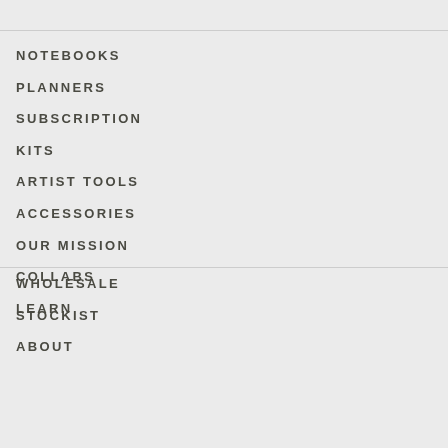NOTEBOOKS
PLANNERS
SUBSCRIPTION
KITS
ARTIST TOOLS
ACCESSORIES
OUR MISSION
COLLABS
LEARN
WHOLESALE
STOCKIST
ABOUT